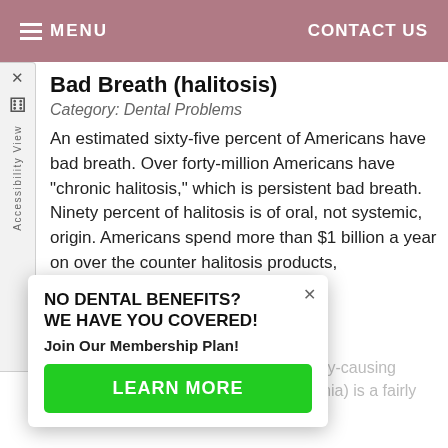MENU    CONTACT US
Bad Breath (halitosis)
Category: Dental Problems
An estimated sixty-five percent of Americans have bad breath. Over forty-million Americans have "chronic halitosis," which is persistent bad breath. Ninety percent of halitosis is of oral, not systemic, origin. Americans spend more than $1 billion a year on over the counter halitosis products,
Read more
Dry Mouth
Category: Dental Problems
...ral defenses against plaque ...uth of cavity-causing ...terials. Dry mouth (also called xerostomia) is a fairly common condition that is caused by
NO DENTAL BENEFITS?
WE HAVE YOU COVERED!
Join Our Membership Plan!
LEARN MORE